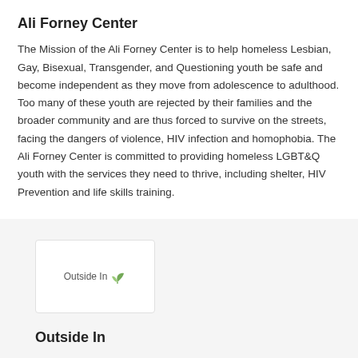Ali Forney Center
The Mission of the Ali Forney Center is to help homeless Lesbian, Gay, Bisexual, Transgender, and Questioning youth be safe and become independent as they move from adolescence to adulthood. Too many of these youth are rejected by their families and the broader community and are thus forced to survive on the streets, facing the dangers of violence, HIV infection and homophobia. The Ali Forney Center is committed to providing homeless LGBT&Q youth with the services they need to thrive, including shelter, HIV Prevention and life skills training.
[Figure (logo): Outside In logo — text 'Outside In' with a green leaf/plant icon]
Outside In